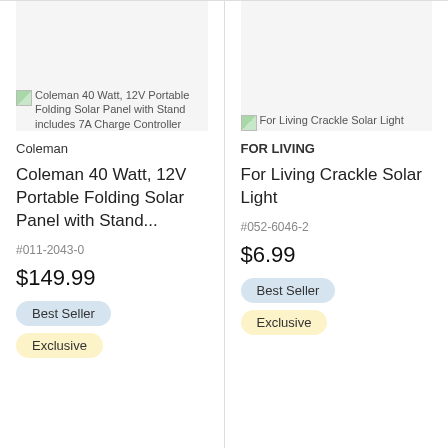[Figure (photo): Broken image placeholder for Coleman 40 Watt, 12V Portable Folding Solar Panel with Stand includes 7A Charge Controller]
[Figure (photo): Broken image placeholder for For Living Crackle Solar Light]
Coleman
FOR LIVING
Coleman 40 Watt, 12V Portable Folding Solar Panel with Stand...
For Living Crackle Solar Light
#011-2043-0
#052-6046-2
$149.99
$6.99
Best Seller
Best Seller
Exclusive
Exclusive